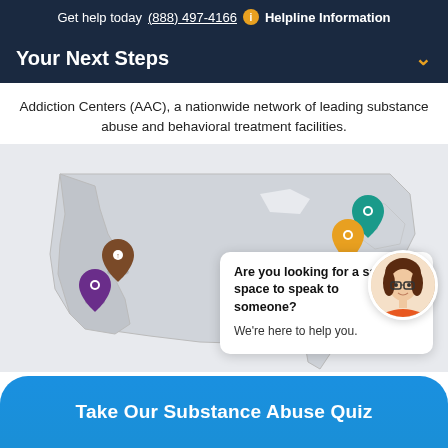Get help today (888) 497-4166  Helpline Information
Your Next Steps
Addiction Centers (AAC), a nationwide network of leading substance abuse and behavioral treatment facilities.
[Figure (map): US map with location pins for AAC treatment facilities in various states (California, East Coast states, South). A chat popup overlay reads: 'Are you looking for a safe space to speak to someone? We're here to help you.' with a close button. An avatar of a woman with glasses appears to the right.]
Take Our Substance Abuse Quiz